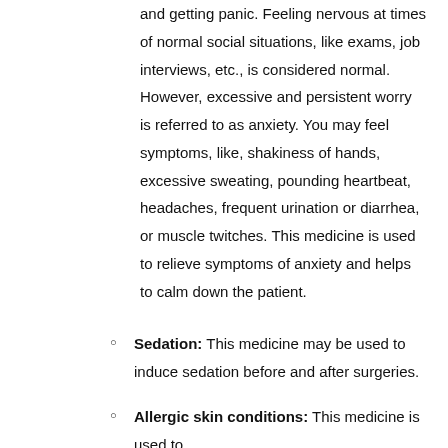and getting panic. Feeling nervous at times of normal social situations, like exams, job interviews, etc., is considered normal. However, excessive and persistent worry is referred to as anxiety. You may feel symptoms, like, shakiness of hands, excessive sweating, pounding heartbeat, headaches, frequent urination or diarrhea, or muscle twitches. This medicine is used to relieve symptoms of anxiety and helps to calm down the patient.
Sedation: This medicine may be used to induce sedation before and after surgeries.
Allergic skin conditions: This medicine is used to